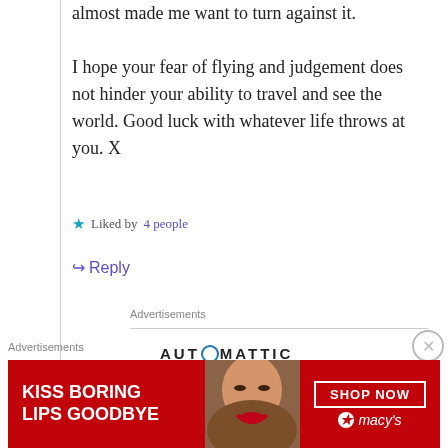almost made me want to turn against it.

I hope your fear of flying and judgement does not hinder your ability to travel and see the world. Good luck with whatever life throws at you. X
★ Liked by 4 people
↪ Reply
Advertisements
[Figure (logo): AUTOMATTIC logo with circular 'O' icon]
Build a better web
Advertisements
[Figure (photo): Macy's advertisement banner: KISS BORING LIPS GOODBYE with SHOP NOW button and Macy's logo, red background with woman's face showing red lips]